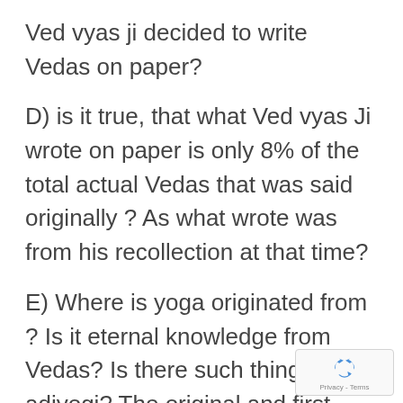Ved vyas ji decided to write Vedas on paper?
D) is it true, that what Ved vyas Ji wrote on paper is only 8% of the total actual Vedas that was said originally ? As what wrote was from his recollection at that time?
E) Where is yoga originated from ? Is it eternal knowledge from Vedas? Is there such thing as adiyogi? The original and first
[Figure (other): reCAPTCHA badge with recycling arrow icon and 'Privacy - Terms' text]